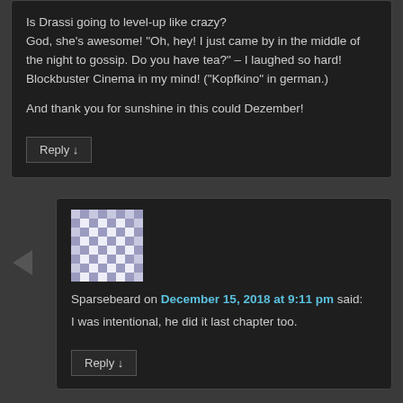Is Drassi going to level-up like crazy? God, she's awesome! “Oh, hey! I just came by in the middle of the night to gossip. Do you have tea?” – I laughed so hard! Blockbuster Cinema in my mind! (“Kopfkino” in german.)

And thank you for sunshine in this could Dezember!
Reply ↓
[Figure (illustration): Avatar image with a purple/gray diamond pattern (Gravatar-style identicon)]
Sparsebeard on December 15, 2018 at 9:11 pm said:
I was intentional, he did it last chapter too.
Reply ↓